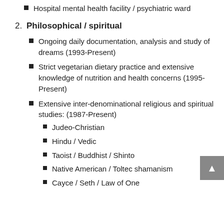Hospital mental health facility / psychiatric ward
2. Philosophical / spiritual
Ongoing daily documentation, analysis and study of dreams (1993-Present)
Strict vegetarian dietary practice and extensive knowledge of nutrition and health concerns (1995-Present)
Extensive inter-denominational religious and spiritual studies: (1987-Present)
Judeo-Christian
Hindu / Vedic
Taoist / Buddhist / Shinto
Native American / Toltec shamanism
Cayce / Seth / Law of One